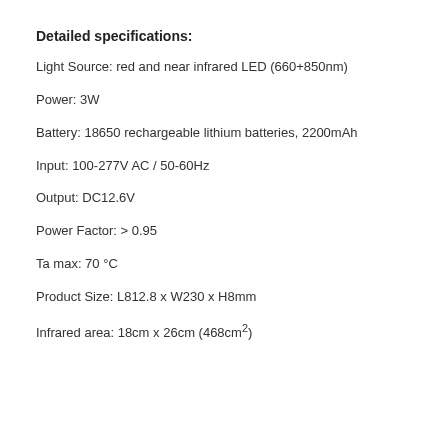Detailed specifications:
Light Source: red and near infrared LED (660+850nm)
Power: 3W
Battery: 18650 rechargeable lithium batteries, 2200mAh
Input: 100-277V AC / 50-60Hz
Output: DC12.6V
Power Factor: > 0.95
Ta max: 70 °C
Product Size: L812.8 x W230 x H8mm
Infrared area: 18cm x 26cm (468cm²)